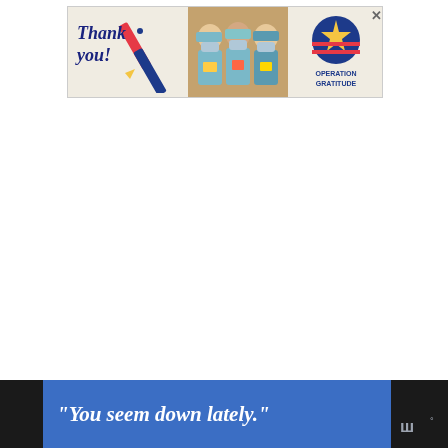[Figure (photo): Advertisement banner for Operation Gratitude showing 'Thank You' text with a pencil graphic on the left, three healthcare workers wearing masks and holding cards/notes in the middle, and the Operation Gratitude logo with a star on the right.]
[Figure (screenshot): UI sidebar with Wattpad logo, a blue heart/like button, a count of 1, and a share button with plus icon.]
[Figure (screenshot): Bottom advertisement banner with dark background showing blue panel with italic bold text: 'You seem down lately.' and Wattpad logo on the right.]